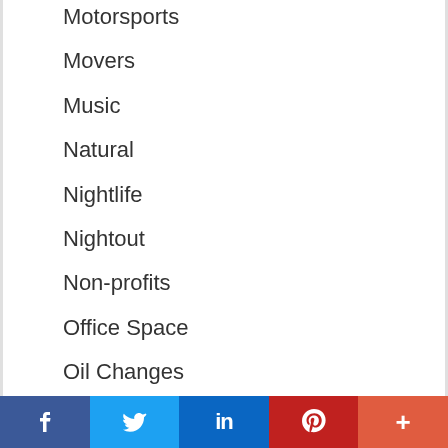Motorsports
Movers
Music
Natural
Nightlife
Nightout
Non-profits
Office Space
Oil Changes
Organic
Outdoor
Painting
Pets
Plumbing Services
[Figure (infographic): Social sharing bar with Facebook (blue), Twitter (light blue), LinkedIn (dark blue), Pinterest (red), and More/Plus (orange-red) buttons]